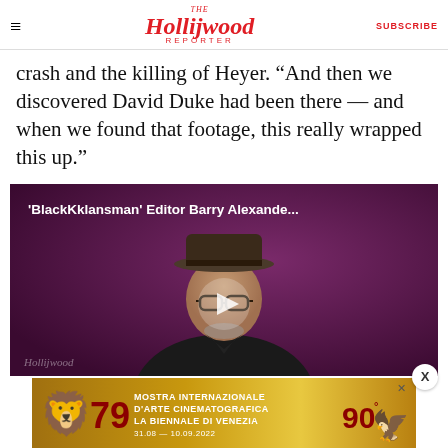The Hollywood Reporter — SUBSCRIBE
crash and the killing of Heyer. “And then we discovered David Duke had been there — and when we found that footage, this really wrapped this up.”
[Figure (screenshot): Video thumbnail for 'BlackKklansman' Editor Barry Alexander... — man in hat and glasses sitting in front of purple background with play button overlay. Hollywood Reporter watermark visible.]
[Figure (photo): Advertisement banner for Mostra Internazionale D'Arte Cinematografica — La Biennale di Venezia, 79th edition, dates 31.08 – 10.09.2022, showing lion logo and phoenix figure, golden/yellow gradient background.]